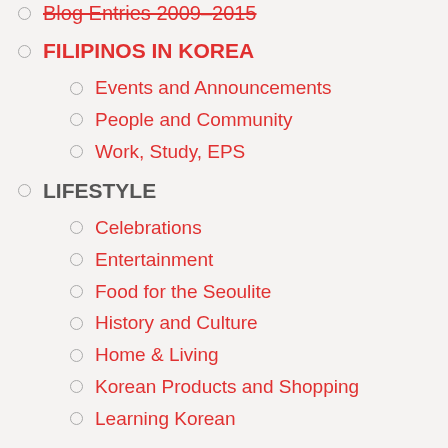Blog Entries 2009–2015
FILIPINOS IN KOREA
Events and Announcements
People and Community
Work, Study, EPS
LIFESTYLE
Celebrations
Entertainment
Food for the Seoulite
History and Culture
Home & Living
Korean Products and Shopping
Learning Korean
DO NOT DISPLAY
EPS-TOPIK Lessons